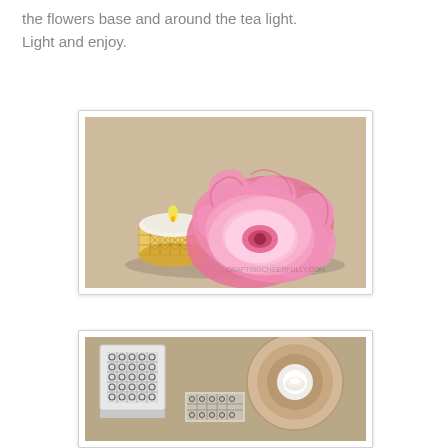the flowers base and around the tea light. Light and enjoy.
[Figure (photo): A pink paper flower next to a small tea light candle in a decorative gold patterned holder, on a beige background.]
[Figure (photo): Craft supplies including a white decorative box with quatrefoil pattern, a roll of ribbon, and a tea light candle on a tan background.]